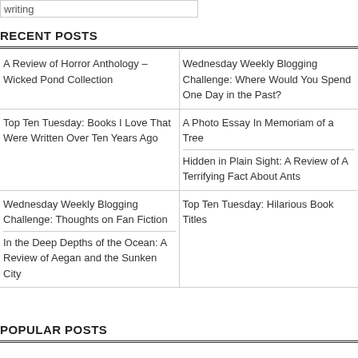writing
RECENT POSTS
A Review of Horror Anthology – Wicked Pond Collection
Wednesday Weekly Blogging Challenge: Where Would You Spend One Day in the Past?
Top Ten Tuesday: Books I Love That Were Written Over Ten Years Ago
A Photo Essay In Memoriam of a Tree
Hidden in Plain Sight: A Review of A Terrifying Fact About Ants
Wednesday Weekly Blogging Challenge: Thoughts on Fan Fiction
Top Ten Tuesday: Hilarious Book Titles
In the Deep Depths of the Ocean: A Review of Aegan and the Sunken City
POPULAR POSTS